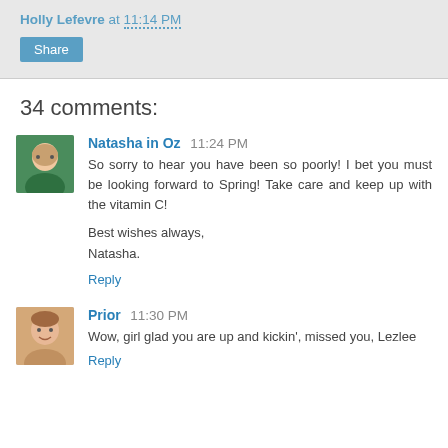Holly Lefevre at 11:14 PM
Share
34 comments:
Natasha in Oz  11:24 PM
So sorry to hear you have been so poorly! I bet you must be looking forward to Spring! Take care and keep up with the vitamin C!

Best wishes always,
Natasha.
Reply
Prior  11:30 PM
Wow, girl glad you are up and kickin', missed you, Lezlee
Reply